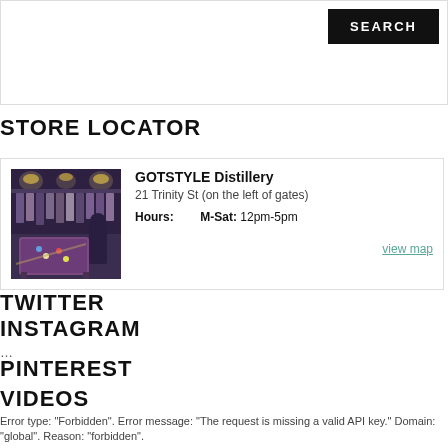[Figure (screenshot): Search bar area with a black SEARCH button on the right]
STORE LOCATOR
[Figure (photo): Interior of GOTSTYLE Distillery store showing clothing racks and a billiard table with purple felt]
GOTSTYLE Distillery
21 Trinity St (on the left of gates)
Hours: M-Sat: 12pm-5pm
view map
TWITTER
INSTAGRAM
…
PINTEREST
VIDEOS
Error type: "Forbidden". Error message: "The request is missing a valid API key." Domain: "global". Reason: "forbidden".